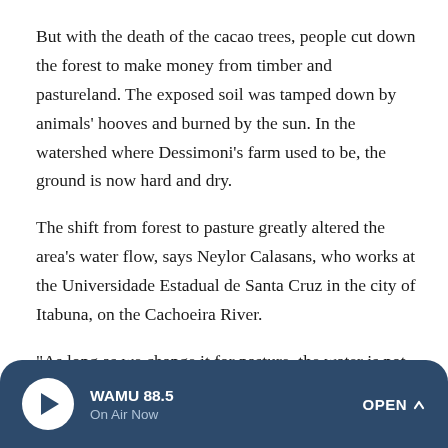But with the death of the cacao trees, people cut down the forest to make money from timber and pastureland. The exposed soil was tamped down by animals' hooves and burned by the sun. In the watershed where Dessimoni's farm used to be, the ground is now hard and dry.
The shift from forest to pasture greatly altered the area's water flow, says Neylor Calasans, who works at the Universidade Estadual de Santa Cruz in the city of Itabuna, on the Cachoeira River.
"As long as we change it for pasture, the water is not able to enter the soil," he says. "It just touches the soil and runs off."
Calasans has been monitoring water flow, temperature and
WAMU 88.5 · On Air Now · OPEN